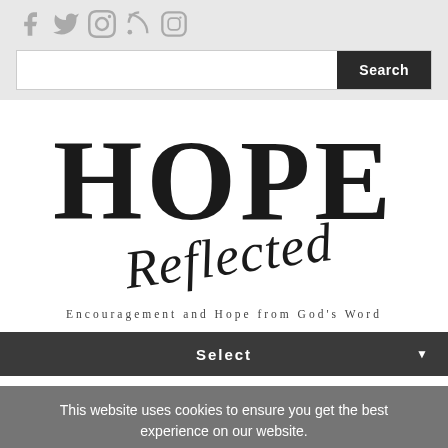[Figure (logo): Social media icons: Facebook, Twitter, Pinterest, RSS, Instagram in grey]
[Figure (other): Search bar with text input and dark Search button]
[Figure (logo): Hope Reflected logo - large serif HOPE text with cursive Reflected script below]
Encouragement and Hope from God's Word
[Figure (other): Dark grey dropdown bar with Select text and arrow]
This website uses cookies to ensure you get the best experience on our website.
[Figure (other): Got It and Learn More teal buttons]
WEDNESDAY
1